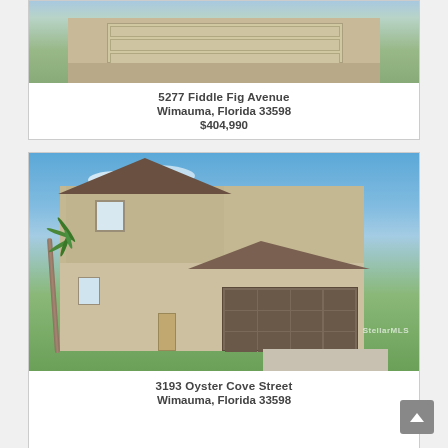[Figure (photo): Exterior rendering of a beige single-story home with two-car garage and landscaping]
5277 Fiddle Fig Avenue
Wimauma, Florida 33598
$404,990
[Figure (photo): Exterior rendering of a tan two-story home with dark brown garage door, palm tree, and blue sky background]
3193 Oyster Cove Street
Wimauma, Florida 33598